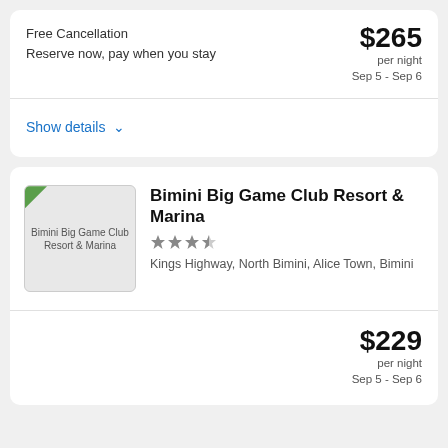Free Cancellation
Reserve now, pay when you stay
$265 per night Sep 5 - Sep 6
Show details
[Figure (photo): Bimini Big Game Club Resort & Marina hotel thumbnail image placeholder]
Bimini Big Game Club Resort & Marina
Kings Highway, North Bimini, Alice Town, Bimini
$229 per night Sep 5 - Sep 6